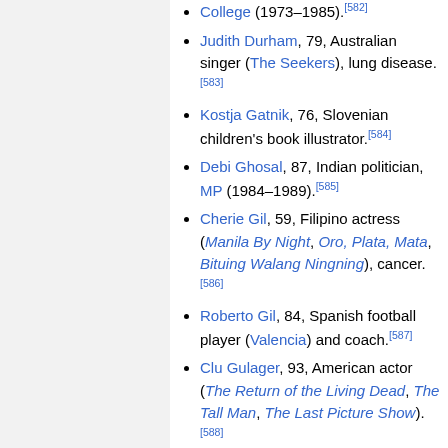College (1973–1985).[582]
Judith Durham, 79, Australian singer (The Seekers), lung disease.[583]
Kostja Gatnik, 76, Slovenian children's book illustrator.[584]
Debi Ghosal, 87, Indian politician, MP (1984–1989).[585]
Cherie Gil, 59, Filipino actress (Manila By Night, Oro, Plata, Mata, Bituing Walang Ningning), cancer.[586]
Roberto Gil, 84, Spanish football player (Valencia) and coach.[587]
Clu Gulager, 93, American actor (The Return of the Living Dead, The Tall Man, The Last Picture Show).[588]
Ali Haydar, 90, Syrian military officer.[589]
Gorima Hazarika, 83, Indian dancer.[590]